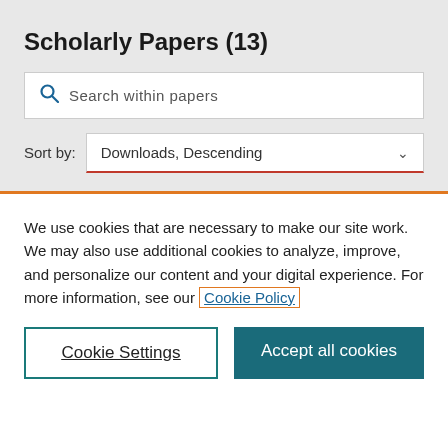Scholarly Papers (13)
Search within papers
Sort by: Downloads, Descending
We use cookies that are necessary to make our site work. We may also use additional cookies to analyze, improve, and personalize our content and your digital experience. For more information, see our Cookie Policy
Cookie Settings
Accept all cookies